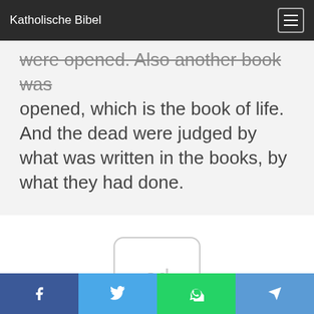Katholische Bibel
were opened. Also another book was opened, which is the book of life. And the dead were judged by what was written in the books, by what they had done.
[Figure (other): Ad placeholder box with text 'ad' inside a rounded rectangle]
Social share buttons: Facebook, Twitter, WhatsApp, Telegram